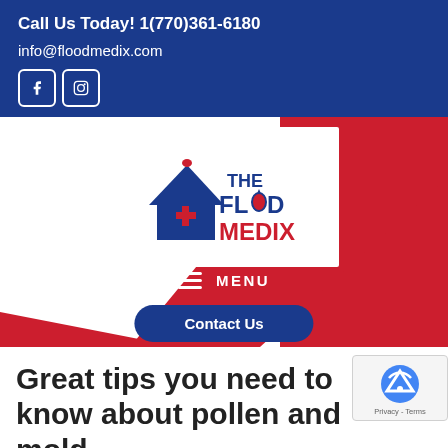Call Us Today! 1(770)361-6180
info@floodmedix.com
[Figure (logo): The Flood Medix logo with house icon and medical cross, red and blue color scheme]
MENU
Contact Us
Great tips you need to know about pollen and mold